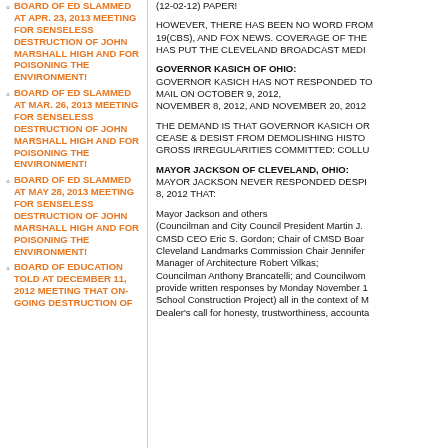BOARD OF ED SLAMMED AT APR. 23, 2013 MEETING FOR SENSELESS DESTRUCTION OF JOHN MARSHALL HIGH AND FOR POISONING THE ENVIRONMENT!
BOARD OF ED SLAMMED AT MAR. 26, 2013 MEETING FOR SENSELESS DESTRUCTION OF JOHN MARSHALL HIGH AND FOR POISONING THE ENVIRONMENT!
BOARD OF ED SLAMMED AT MAY 28, 2013 MEETING FOR SENSELESS DESTRUCTION OF JOHN MARSHALL HIGH AND FOR POISONING THE ENVIRONMENT!
BOARD OF EDUCATION TOLD AT DECEMBER 11, 2012 MEETING THAT ON-GOING DESTRUCTION OF
(12-02-12) PAPER!
HOWEVER, THERE HAS BEEN NO WORD FROM 19(CBS), AND FOX NEWS. COVERAGE OF THE HAS PUT THE CLEVELAND BROADCAST MEDI
GOVERNOR KASICH OF OHIO:
GOVERNOR KASICH HAS NOT RESPONDED TO MAIL ON OCTOBER 9, 2012,
NOVEMBER 8, 2012, AND NOVEMBER 20, 2012
THE DEMAND IS THAT GOVERNOR KASICH OR CEASE & DESIST FROM DEMOLISHING HISTO GROSS IRREGULARITIES COMMITTED: COLLU
MAYOR JACKSON OF CLEVELAND, OHIO:
MAYOR JACKSON NEVER RESPONDED DESPI 8, 2012 THAT:
Mayor Jackson and others
(Councilman and City Council President Martin J. CMSD CEO Eric S. Gordon; Chair of CMSD Boar Cleveland Landmarks Commission Chair Jennifer Manager of Architecture Robert Vilkas;
Councilman Anthony Brancatelli; and Councilwom provide written responses by Monday November 1 School Construction Project) all in the context of M Dealer's call for honesty, trustworthiness, accounta